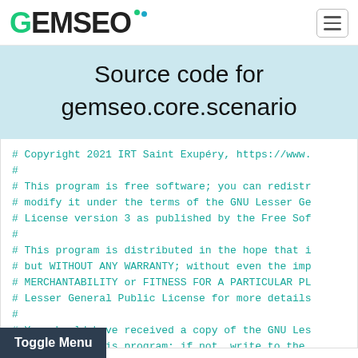GEMSEO
Source code for gemseo.core.scenario
# Copyright 2021 IRT Saint Exupéry, https://www.
#
# This program is free software; you can redistr
# modify it under the terms of the GNU Lesser Ge
# License version 3 as published by the Free Sof
#
# This program is distributed in the hope that i
# but WITHOUT ANY WARRANTY; without even the imp
# MERCHANTABILITY or FITNESS FOR A PARTICULAR PL
# Lesser General Public License for more details
#
# You should have received a copy of the GNU Les
# along with this program; if not, write to the
# Inc., 51 Franklin Street, Fifth Floor, Boston,
# Authors:
Toggle Menu